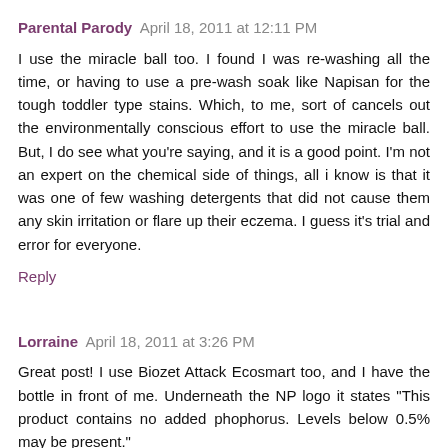Parental Parody  April 18, 2011 at 12:11 PM
I use the miracle ball too. I found I was re-washing all the time, or having to use a pre-wash soak like Napisan for the tough toddler type stains. Which, to me, sort of cancels out the environmentally conscious effort to use the miracle ball. But, I do see what you're saying, and it is a good point. I'm not an expert on the chemical side of things, all i know is that it was one of few washing detergents that did not cause them any skin irritation or flare up their eczema. I guess it's trial and error for everyone.
Reply
Lorraine  April 18, 2011 at 3:26 PM
Great post! I use Biozet Attack Ecosmart too, and I have the bottle in front of me. Underneath the NP logo it states "This product contains no added phophorus. Levels below 0.5% may be present."
Reply